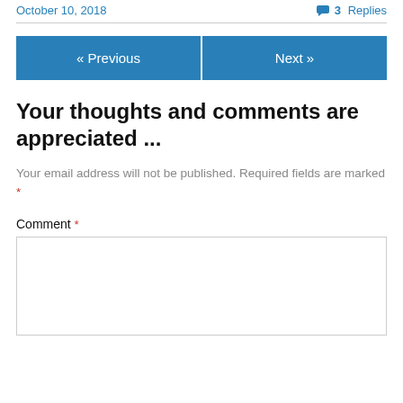October 10, 2018
3 Replies
« Previous
Next »
Your thoughts and comments are appreciated ...
Your email address will not be published. Required fields are marked *
Comment *